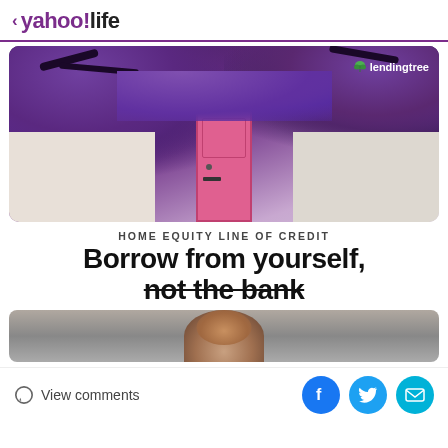< yahoo!life
[Figure (photo): Photo of a white house with a pink front door covered in purple wisteria flowers, with a LendingTree logo watermark in the top right corner.]
HOME EQUITY LINE OF CREDIT
Borrow from yourself, not the bank
[Figure (photo): Partial photo of a person, cropped at the bottom of the page.]
View comments